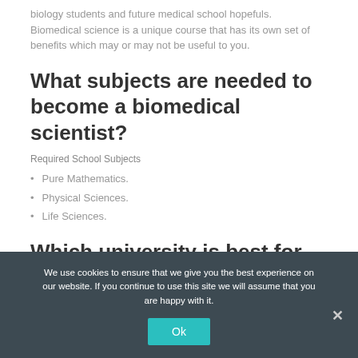biology students and future medical school hopefuls. Biomedical science is a unique course that has its own set of benefits which may or may not be useful to you.
What subjects are needed to become a biomedical scientist?
Required School Subjects
Pure Mathematics.
Physical Sciences.
Life Sciences.
Which university is best for
We use cookies to ensure that we give you the best experience on our website. If you continue to use this site we will assume that you are happy with it.